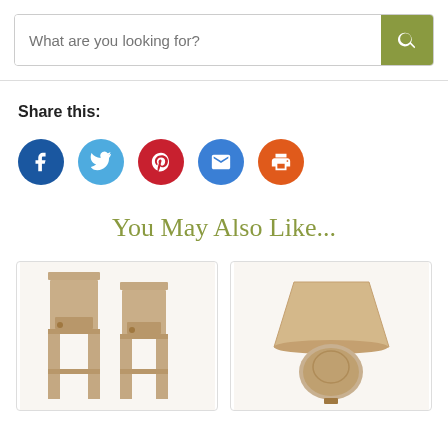[Figure (screenshot): Search bar with placeholder text 'What are you looking for?' and olive/green search button with magnifying glass icon]
Share this:
[Figure (infographic): Social sharing icons: Facebook (dark blue), Twitter (light blue), Pinterest (red), Email (blue), Print (orange)]
You May Also Like...
[Figure (photo): Two tall wooden end tables/nightstands with single drawer each, in distressed natural wood finish]
[Figure (photo): Table lamp with beige drum shade and decorative ceramic base in muted tones]